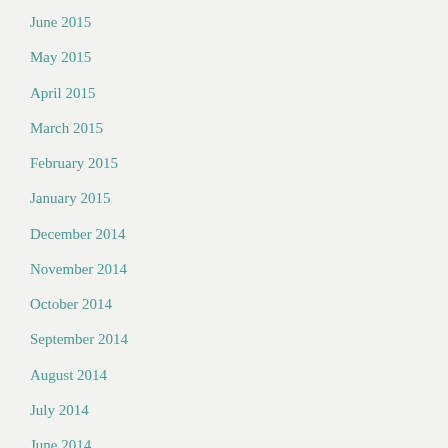June 2015
May 2015
April 2015
March 2015
February 2015
January 2015
December 2014
November 2014
October 2014
September 2014
August 2014
July 2014
June 2014
May 2014